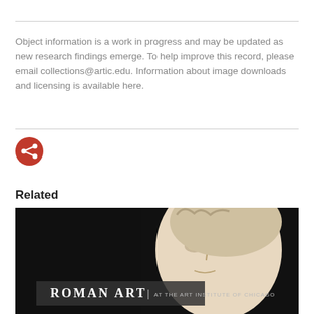Object information is a work in progress and may be updated as new research findings emerge. To help improve this record, please email collections@artic.edu. Information about image downloads and licensing is available here.
[Figure (illustration): Red circular share/social button icon with white share symbol (three connected dots)]
Related
[Figure (photo): Banner image for 'Roman Art at the Art Institute of Chicago' showing a marble sculpture face on a dark background with text overlay]